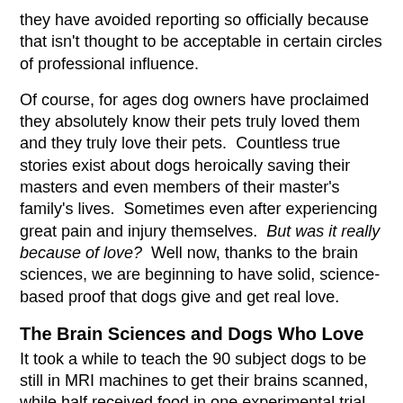they have avoided reporting so officially because that isn't thought to be acceptable in certain circles of professional influence.
Of course, for ages dog owners have proclaimed they absolutely know their pets truly loved them and they truly love their pets.  Countless true stories exist about dogs heroically saving their masters and even members of their master's family's lives.  Sometimes even after experiencing great pain and injury themselves.  But was it really because of love?  Well now, thanks to the brain sciences, we are beginning to have solid, science-based proof that dogs give and get real love.
The Brain Sciences and Dogs Who Love
It took a while to teach the 90 subject dogs to be still in MRI machines to get their brains scanned, while half received food in one experimental trial condition and half received verbal love messages in another.  One hypothesis was the data from the dog's brains would show high activity indicating they valued the food in the reward centers of their brains far more than the verbal love sounds coming to their